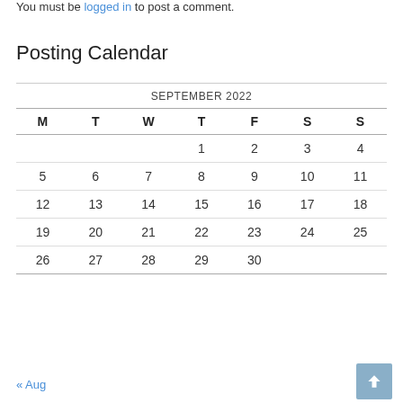You must be logged in to post a comment.
Posting Calendar
| M | T | W | T | F | S | S |
| --- | --- | --- | --- | --- | --- | --- |
|  |  |  | 1 | 2 | 3 | 4 |
| 5 | 6 | 7 | 8 | 9 | 10 | 11 |
| 12 | 13 | 14 | 15 | 16 | 17 | 18 |
| 19 | 20 | 21 | 22 | 23 | 24 | 25 |
| 26 | 27 | 28 | 29 | 30 |  |  |
« Aug